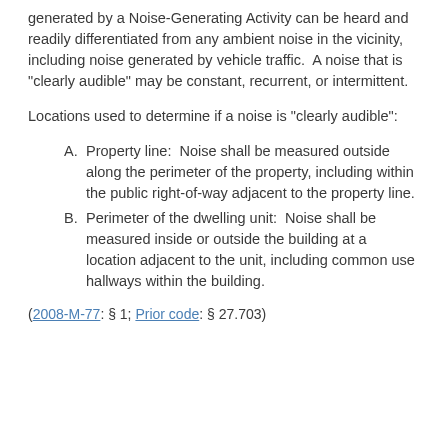generated by a Noise-Generating Activity can be heard and readily differentiated from any ambient noise in the vicinity, including noise generated by vehicle traffic.  A noise that is "clearly audible" may be constant, recurrent, or intermittent.
Locations used to determine if a noise is "clearly audible":
A. Property line:  Noise shall be measured outside along the perimeter of the property, including within the public right-of-way adjacent to the property line.
B. Perimeter of the dwelling unit:  Noise shall be measured inside or outside the building at a location adjacent to the unit, including common use hallways within the building.
(2008-M-77: § 1; Prior code: § 27.703)